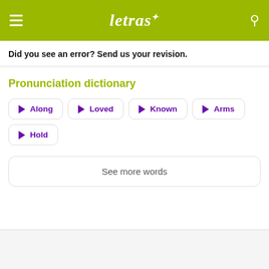letras
Did you see an error? Send us your revision.
Pronunciation dictionary
Along
Loved
Known
Arms
Hold
See more words